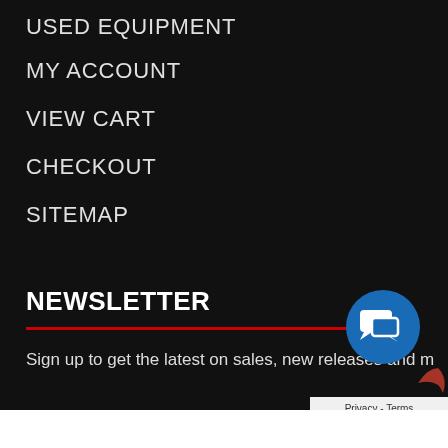USED EQUIPMENT
MY ACCOUNT
VIEW CART
CHECKOUT
SITEMAP
NEWSLETTER
Sign up to get the latest on sales, new releases and m…
[Figure (illustration): Chat bubble icon button (blue circle with speech bubble icons)]
Privacy - Terms